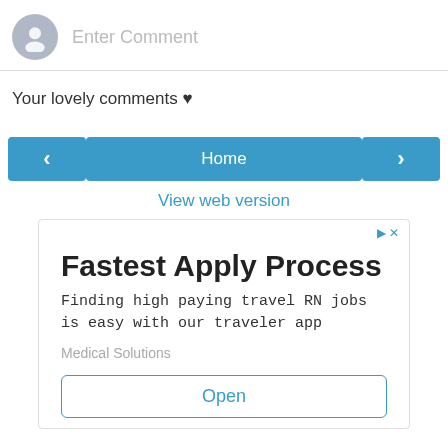Enter Comment
Your lovely comments ♥
[Figure (screenshot): Navigation row with left arrow button, Home button, and right arrow button, all in blue]
View web version
[Figure (screenshot): Advertisement box: Fastest Apply Process - Finding high paying travel RN jobs is easy with our traveler app - Medical Solutions - Open button]